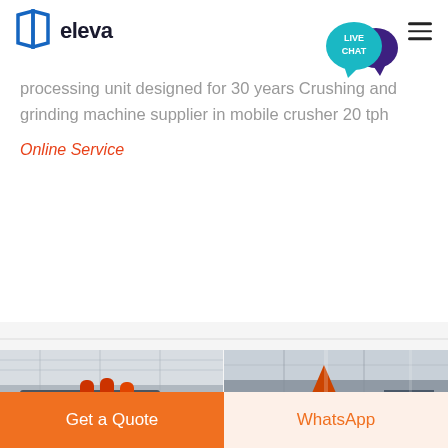eleva
processing unit designed for 30 years Crushing and grinding machine supplier in mobile crusher 20 tph
Online Service
[Figure (photo): Two industrial crushing/grinding machines in a factory warehouse setting — left image shows a large grey jaw crusher with orange/red components, right image shows a conical grinding mill in an industrial facility]
Get a Quote
WhatsApp